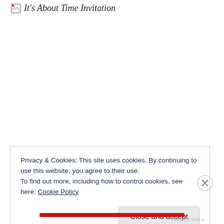[Figure (other): Broken image icon with alt text 'It's About Time Invitation']
Privacy & Cookies: This site uses cookies. By continuing to use this website, you agree to their use.
To find out more, including how to control cookies, see here: Cookie Policy
Close and accept